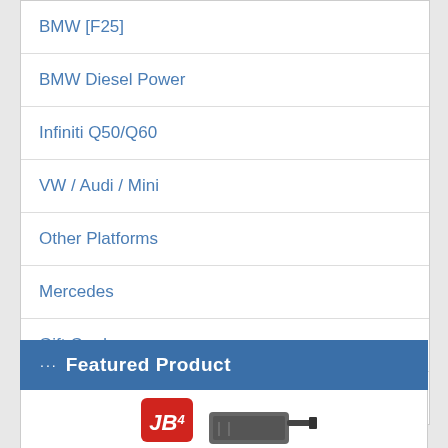BMW [F25]
BMW Diesel Power
Infiniti Q50/Q60
VW / Audi / Mini
Other Platforms
Mercedes
Gift Cards
Sale Items
Featured Product
[Figure (photo): JB4 product image showing a device with JB4 logo in red and a hardware component]